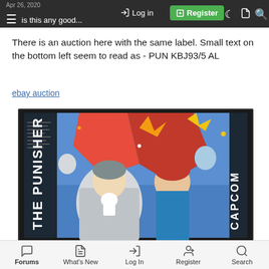is this any good...  Log in  Register
There is an auction here with the same label. Small text on the bottom left seem to read as - PUN KBJ93/5 AL
ebay auction
[Figure (photo): Photo of The Punisher arcade game PCB board with colorful box art showing action characters including Punisher and other Marvel characters, Capcom logo visible on the side]
Forums  What's New  Log In  Register  Search